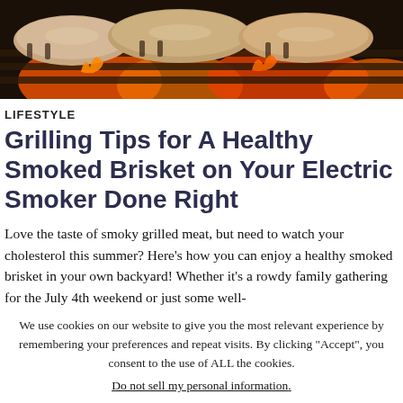[Figure (photo): Close-up photo of meat grilling on a barbecue grill with flames visible underneath]
LIFESTYLE
Grilling Tips for A Healthy Smoked Brisket on Your Electric Smoker Done Right
Love the taste of smoky grilled meat, but need to watch your cholesterol this summer? Here’s how you can enjoy a healthy smoked brisket in your own backyard! Whether it’s a rowdy family gathering for the July 4th weekend or just some well-
We use cookies on our website to give you the most relevant experience by remembering your preferences and repeat visits. By clicking “Accept”, you consent to the use of ALL the cookies. Do not sell my personal information.
Cookie Settings
Accept